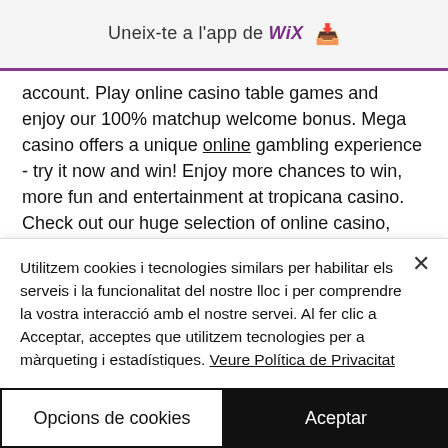Uneix-te a l'app de WiX ↓
account. Play online casino table games and enjoy our 100% matchup welcome bonus. Mega casino offers a unique online gambling experience - try it now and win! Enjoy more chances to win, more fun and entertainment at tropicana casino. Check out our huge selection of online casino, slots and video poker games. Winning slot games is based solely on chance, meaning everyone has a shot at winning. To win slot games, all you need is to land matching symbols across the
Utilitzem cookies i tecnologies similars per habilitar els serveis i la funcionalitat del nostre lloc i per comprendre la vostra interacció amb el nostre servei. Al fer clic a Acceptar, acceptes que utilitzem tecnologies per a màrqueting i estadístiques. Veure Política de Privacitat
Opcions de cookies
Aceptar